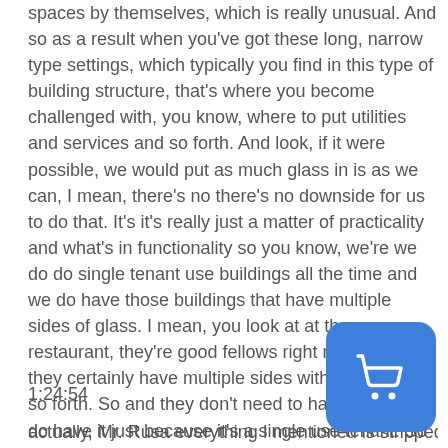spaces by themselves, which is really unusual. And so as a result when you've got these long, narrow type settings, which typically you find in this type of building structure, that's where you become challenged with, you know, where to put utilities and services and so forth. And look, if it were possible, we would put as much glass in is as we can, I mean, there's no there's no downside for us to do that. It's it's really just a matter of practicality and what's in functionality so you know, we're we do do single tenant use buildings all the time and we do have those buildings that have multiple sides of glass. I mean, you look at at the restaurant, they're good fellows right next door and they certainly have multiple sides with glazing and so forth. So and they don't need to have it but they do have it just because it's a single use tenant. So so so
1:24:54
actually, Mr. Rusa everything I mentioned is stripped
[Figure (other): Blue rounded square button with a white shopping cart icon]